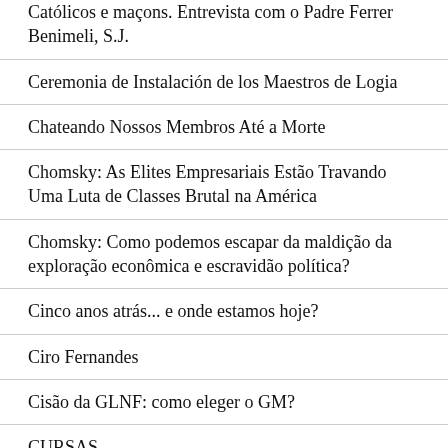Católicos e maçons. Entrevista com o Padre Ferrer Benimeli, S.J.
Ceremonia de Instalación de los Maestros de Logia
Chateando Nossos Membros Até a Morte
Chomsky: As Elites Empresariais Estão Travando Uma Luta de Classes Brutal na América
Chomsky: Como podemos escapar da maldição da exploração econômica e escravidão política?
Cinco anos atrás... e onde estamos hoje?
Ciro Fernandes
Cisão da GLNF: como eleger o GM?
CURSAS